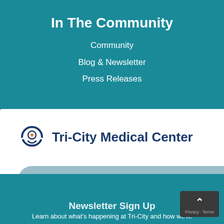In The Community
Community
Blog & Newsletter
Press Releases
[Figure (logo): Tri-City Medical Center logo with circular icon and bold blue text]
Start Your Search...
Newsletter Sign Up
Learn about what's happening at Tri-City and how we're